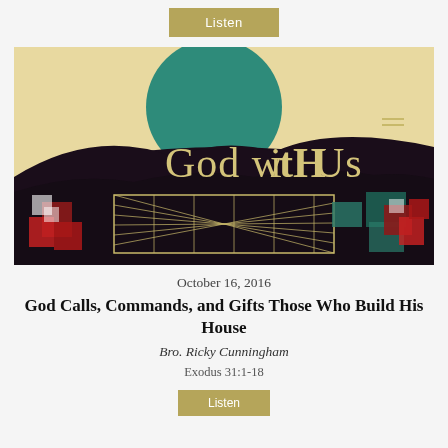Listen
[Figure (illustration): Stylized artwork showing 'God with Us' text over a dark landscape with a teal circle (sun/moon), mountains, and an aerial view of a tabernacle structure. Red tent-like structures visible on the sides. Cream/beige color palette with teal and dark brown tones.]
October 16, 2016
God Calls, Commands, and Gifts Those Who Build His House
Bro. Ricky Cunningham
Exodus 31:1-18
Listen